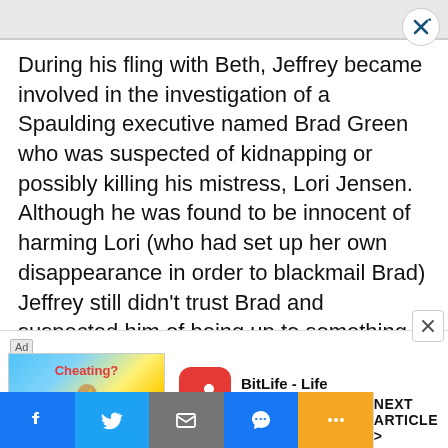During his fling with Beth, Jeffrey became involved in the investigation of a Spaulding executive named Brad Green who was suspected of kidnapping or possibly killing his mistress, Lori Jensen. Although he was found to be innocent of harming Lori (who had set up her own disappearance in order to blackmail Brad) Jeffrey still didn't trust Brad and suspected him of being up to something
[Figure (screenshot): Mobile advertisement banner for BitLife - Life Simulator app, showing a flexing arm emoji with 'Cheating?' text in red, and the BitLife app icon with Install button]
Facebook | Twitter | Mail | Messenger | More | NEXT ARTICLE >